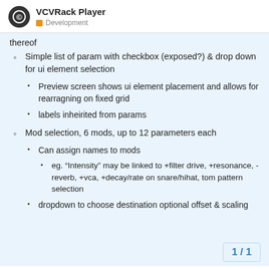VCVRack Player — Development
thereof
Simple list of param with checkbox (exposed?) & drop down for ui element selection
Preview screen shows ui element placement and allows for rearragning on fixed grid
labels inheirited from params
Mod selection, 6 mods, up to 12 parameters each
Can assign names to mods
eg. “Intensity” may be linked to +filter drive, +resonance, - reverb, +vca, +decay/rate on snare/hihat, tom pattern selection
dropdown to choose destination optional offset & scaling